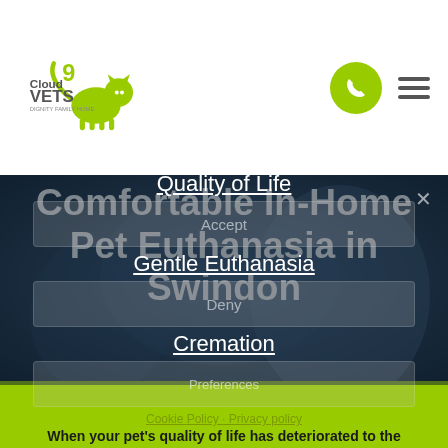[Figure (logo): Cloud 9 Vets logo with green cat/dog silhouette and text 'Cloud 9 VETS dignity family home']
Comfortable In-Home Pet Euthanasia in Swindon
We use cookies to optimise our site and our service.
Quality of Life
Accept
Gentle Euthanasia
Deny
Cremation
Preferences
Cookie Policy · Privacy policy
When your pet's quality of life has deteriorated to the